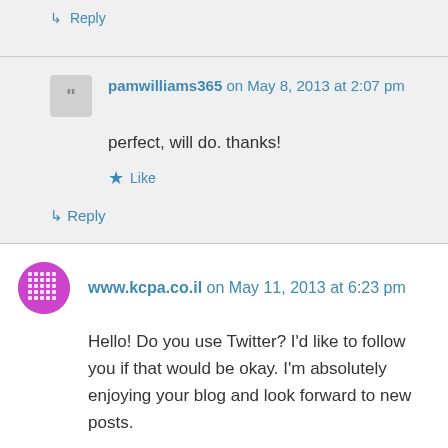↳ Reply
pamwilliams365 on May 8, 2013 at 2:07 pm
perfect, will do. thanks!
★ Like
↳ Reply
www.kcpa.co.il on May 11, 2013 at 6:23 pm
Hello! Do you use Twitter? I'd like to follow you if that would be okay. I'm absolutely enjoying your blog and look forward to new posts.